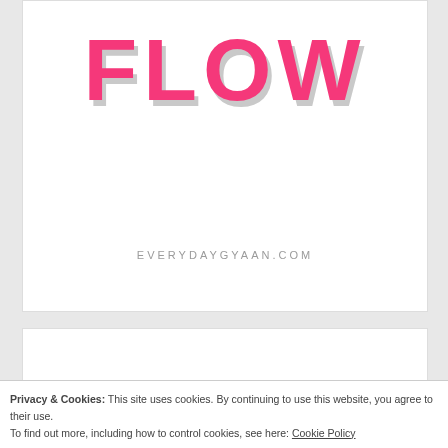[Figure (illustration): Large bold pink text reading FLOW with drop shadow on white background card, with website text EVERYDAYGYAAN.COM below it]
[Figure (other): White advertisement card area, empty]
Privacy & Cookies: This site uses cookies. By continuing to use this website, you agree to their use. To find out more, including how to control cookies, see here: Cookie Policy
[Figure (other): Social share buttons row: Twitter (blue), Pinterest (red), Evernote (green), Telegram (light blue), WhatsApp (green), Facebook (blue), LinkedIn (dark blue), Flipboard (red)]